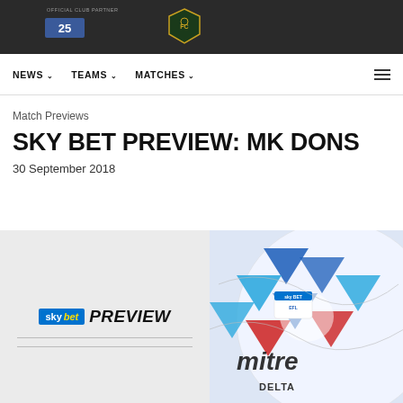OFFICIAL CLUB PARTNER | NEWS | TEAMS | MATCHES
Match Previews
SKY BET PREVIEW: MK DONS
30 September 2018
[Figure (photo): Sky Bet Preview banner on left (grey background with sky bet logo and PREVIEW text in italic), and a close-up of a Mitre Delta EFL football on the right with blue and red geometric patterns]